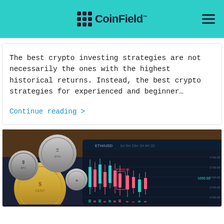CoinField
The best crypto investing strategies are not necessarily the ones with the highest historical returns. Instead, the best crypto strategies for experienced and beginner…
Continue reading >
[Figure (photo): Photo of physical cryptocurrency coins (gold and silver) on a wooden surface, with a tablet/phone showing a crypto trading chart (ETH/USD candlestick chart) with teal/pink candlesticks and price levels around 1690-1740.]